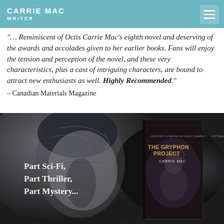– Canadian Children's Book News
CARRIE MAC WRITER
"… Reminiscent of Octis Carrie Mac's eighth novel and deserving of the awards and accolades given to her earlier books. Fans will enjoy the tension and perception of the novel, and these very characteristics, plus a cast of intriguing characters, are bound to attract new enthusiasts as well. Highly Recommended." – Canadian Materials Magazine
[Figure (photo): Book cover and promotional image for 'The Gryphon Project' by Carrie Mac. Dark atmospheric photo of a person with eyes closed in the background. Overlaid text reads 'Part Sci-Fi, Part Thriller, Part Mystery...'. The book cover on the right shows the title 'THE GRYPHON PROJECT' by CARRIE MAC with a figure illustration.]